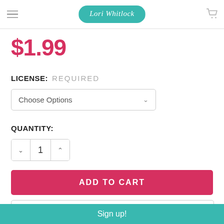Lori Whitlock
$1.99
LICENSE: REQUIRED
Choose Options
QUANTITY:
1
ADD TO CART
ADD TO WISH LIST
Sign up!